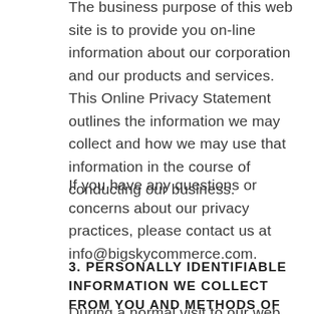The business purpose of this web site is to provide you on-line information about our corporation and our products and services. This Online Privacy Statement outlines the information we may collect and how we may use that information in the course of conducting our business.
If you have any questions or concerns about our privacy practices, please contact us at info@bigskycommerce.com.
3. PERSONALLY IDENTIFIABLE INFORMATION WE COLLECT FROM YOU AND METHODS OF COLLECTION:
During a normal visit to our web site, no